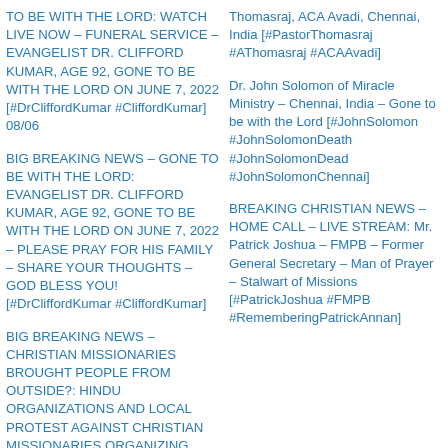TO BE WITH THE LORD: WATCH LIVE NOW – FUNERAL SERVICE – EVANGELIST DR. CLIFFORD KUMAR, AGE 92, GONE TO BE WITH THE LORD ON JUNE 7, 2022 [#DrCliffordKumar #CliffordKumar] 08/06
BIG BREAKING NEWS – GONE TO BE WITH THE LORD: EVANGELIST DR. CLIFFORD KUMAR, AGE 92, GONE TO BE WITH THE LORD ON JUNE 7, 2022 – PLEASE PRAY FOR HIS FAMILY – SHARE YOUR THOUGHTS – GOD BLESS YOU! [#DrCliffordKumar #CliffordKumar]
BIG BREAKING NEWS – CHRISTIAN MISSIONARIES BROUGHT PEOPLE FROM OUTSIDE?: HINDU ORGANIZATIONS AND LOCAL PROTEST AGAINST CHRISTIAN MISSIONARIES ORGANIZING TWO-DAY
Thomasraj, ACA Avadi, Chennai, India [#PastorThomasraj #AThomasraj #ACAAvadi]
Dr. John Solomon of Miracle Ministry – Chennai, India – Gone to be with the Lord [#JohnSolomon #JohnSolomonDeath #JohnSolomonDead #JohnSolomonChennai]
BREAKING CHRISTIAN NEWS – HOME CALL – LIVE STREAM: Mr. Patrick Joshua – FMPB – Former General Secretary – Man of Prayer – Stalwart of Missions [#PatrickJoshua #FMPB #RememberingPatrickAnnan]